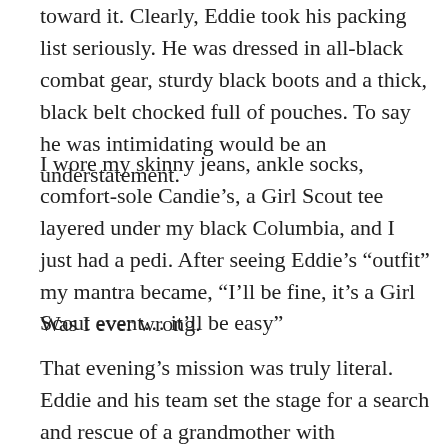toward it. Clearly, Eddie took his packing list seriously. He was dressed in all-black combat gear, sturdy black boots and a thick, black belt chocked full of pouches. To say he was intimidating would be an understatement.
I wore my skinny jeans, ankle socks, comfort-sole Candie’s, a Girl Scout tee layered under my black Columbia, and I just had a pedi. After seeing Eddie’s “outfit” my mantra became, “I’ll be fine, it’s a Girl Scout event… it’ll be easy”
Was I ever wrong.
That evening’s mission was truly literal. Eddie and his team set the stage for a search and rescue of a grandmother with Alzheimer’s, who was lost in the woods with her autistic grandson. We were